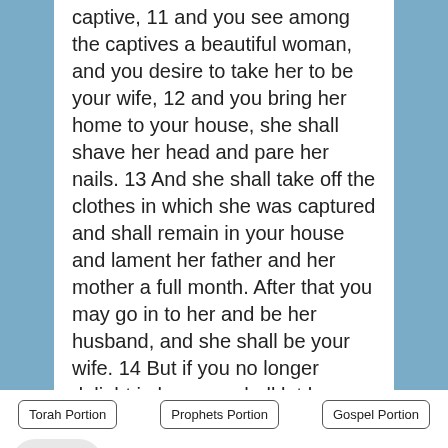captive, 11 and you see among the captives a beautiful woman, and you desire to take her to be your wife, 12 and you bring her home to your house, she shall shave her head and pare her nails. 13 And she shall take off the clothes in which she was captured and shall remain in your house and lament her father and her mother a full month. After that you may go in to her and be her husband, and she shall be your wife. 14 But if you no longer delight in her, you shall let her go where she wants. But you shall not sell her for money. nor
Torah Portion
Prophets Portion
Gospel Portion